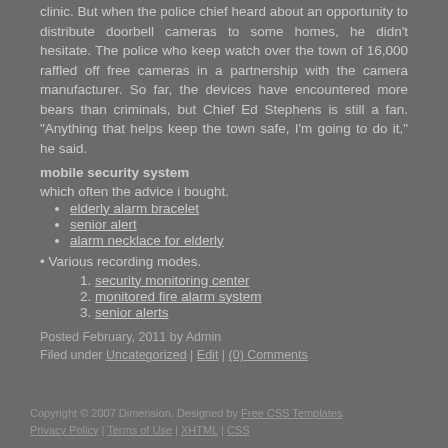clinic. But when the police chief heard about an opportunity to distribute doorbell cameras to some homes, he didn't hesitate. The police who keep watch over the town of 16,000 raffled off free cameras in a partnership with the camera manufacturer. So far, the devices have encountered more bears than criminals, but Chief Ed Stephens is still a fan. "Anything that helps keep the town safe, I'm going to do it," he said.
mobile security system
which often the advice i bought.
elderly alarm bracelet
senior alert
alarm necklace for elderly
• Various recording modes.
security monitoring center
monitored fire alarm system
senior alerts
Posted February, 2011 by Admin
Filed under Uncategorized | Edit | (0) Comments
Copyright © 2007 Dimension. Designed by Free CSS Templates. Privacy Policy | Terms of Use |XHTML | CSS